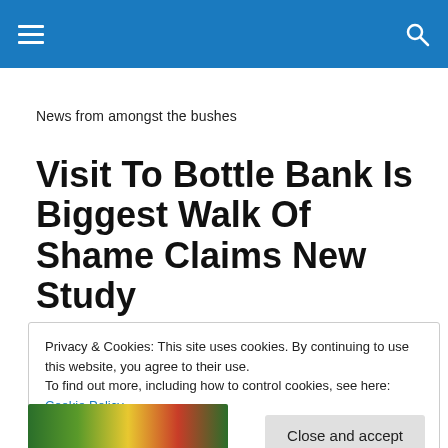≡  🔍
News from amongst the bushes
Visit To Bottle Bank Is Biggest Walk Of Shame Claims New Study
Privacy & Cookies: This site uses cookies. By continuing to use this website, you agree to their use.
To find out more, including how to control cookies, see here: Cookie Policy
Close and accept